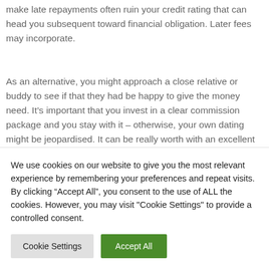make late repayments often ruin your credit rating that can head you subsequent toward financial obligation. Later fees may incorporate.
As an alternative, you might approach a close relative or buddy to see if that they had be happy to give the money need. It’s important that you invest in a clear commission package and you stay with it – otherwise, your own dating might be jeopardised. It can be really worth with an excellent solicitor draft a fees bundle the two of you sign, to get rid of one misunderstandings
We use cookies on our website to give you the most relevant experience by remembering your preferences and repeat visits. By clicking “Accept All”, you consent to the use of ALL the cookies. However, you may visit "Cookie Settings" to provide a controlled consent.